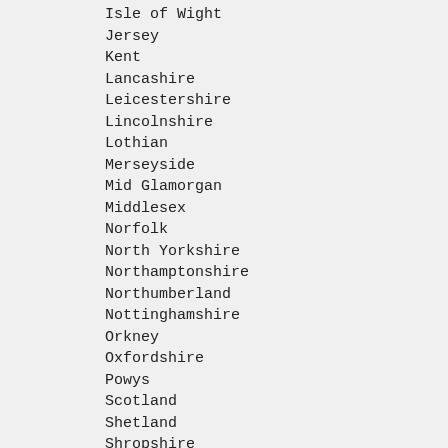Isle of Wight
Jersey
Kent
Lancashire
Leicestershire
Lincolnshire
Lothian
Merseyside
Mid Glamorgan
Middlesex
Norfolk
North Yorkshire
Northamptonshire
Northumberland
Nottinghamshire
Orkney
Oxfordshire
Powys
Scotland
Shetland
Shropshire
Somerset
South Glamorgan
South Yorkshire
Staffordshire